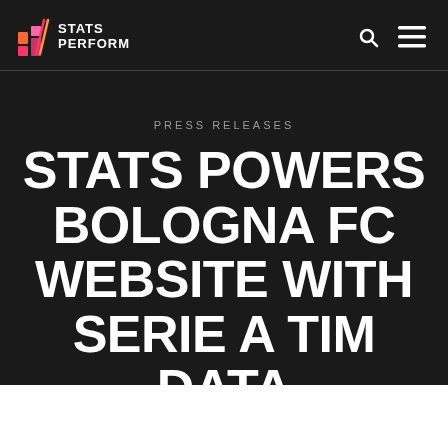STATS PERFORM
PRESS RELEASES
STATS POWERS BOLOGNA FC WEBSITE WITH SERIE A TIM DATA
June 2, 2016
SHARE: